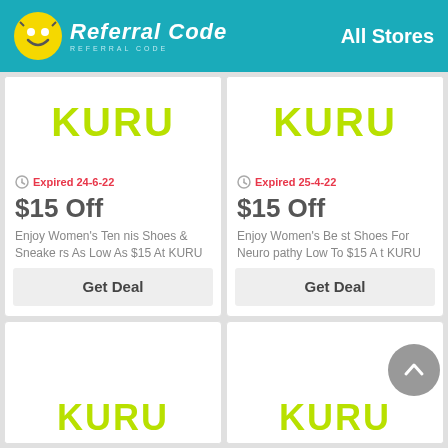Referral Code | All Stores
[Figure (screenshot): KURU brand logo text in green/yellow color at top of first card]
Expired 24-6-22
$15 Off
Enjoy Women's Tennis Shoes & Sneakers As Low As $15 At KURU
Get Deal
[Figure (screenshot): KURU brand logo text in green/yellow color at top of second card]
Expired 25-4-22
$15 Off
Enjoy Women's Best Shoes For Neuropathy Low To $15 At KURU
Get Deal